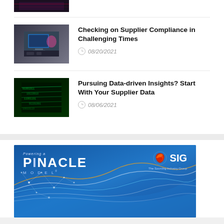[Figure (photo): Thumbnail image showing a presentation screen with a pink/purple graphic, partially cropped]
Checking on Supplier Compliance in Challenging Times
08/20/2021
[Figure (photo): Thumbnail image showing dark background with green data streams/matrix-style digital data]
Pursuing Data-driven Insights? Start With Your Supplier Data
08/06/2021
[Figure (illustration): Pinacle Model banner with SIG logo. Blue gradient background with wave patterns and dot network graphics. Shows 'Pinacle MODEL' text on left and SIG logo on right.]